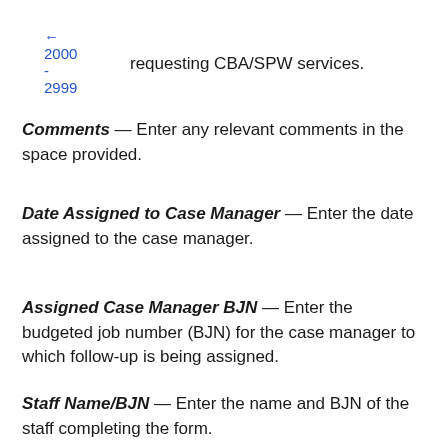← 2000 - 2999
requesting CBA/SPW services.
Comments — Enter any relevant comments in the space provided.
Date Assigned to Case Manager — Enter the date assigned to the case manager.
Assigned Case Manager BJN — Enter the budgeted job number (BJN) for the case manager to which follow-up is being assigned.
Staff Name/BJN — Enter the name and BJN of the staff completing the form.
Staff Area Code and Telephone No. — Enter the